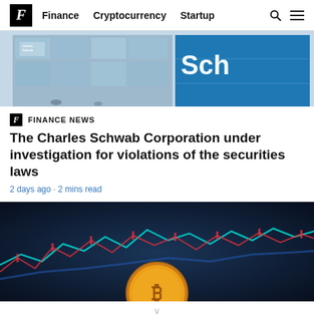F  Finance  Cryptocurrency  Startup
[Figure (photo): Charles Schwab building exterior with blue signage, showing glass facade and 'Charles Schwab' logo on the left, and a large blue 'Sch...' banner on the right]
FINANCE NEWS
The Charles Schwab Corporation under investigation for violations of the securities laws
2 days ago · 2 mins read
[Figure (photo): Dark navy background with colorful stock market chart lines in red, cyan and blue, with a gold Bitcoin coin in the foreground center]